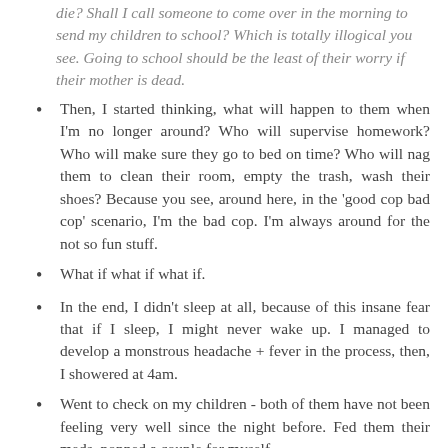die? Shall I call someone to come over in the morning to send my children to school? Which is totally illogical you see. Going to school should be the least of their worry if their mother is dead.
Then, I started thinking, what will happen to them when I'm no longer around? Who will supervise homework? Who will make sure they go to bed on time? Who will nag them to clean their room, empty the trash, wash their shoes? Because you see, around here, in the 'good cop bad cop' scenario, I'm the bad cop. I'm always around for the not so fun stuff.
What if what if what if.
In the end, I didn't sleep at all, because of this insane fear that if I sleep, I might never wake up. I managed to develop a monstrous headache + fever in the process, then, I showered at 4am.
Went to check on my children - both of them have not been feeling very well since the night before. Fed them their meds, popped a couple for myself